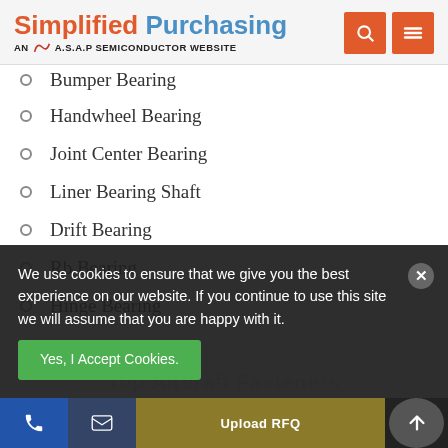Simplified Purchasing — AN A.S.A.P SEMICONDUCTOR WEBSITE
Bumper Bearing
Handwheel Bearing
Joint Center Bearing
Liner Bearing Shaft
Drift Bearing
Rb Bearing
Hinge Bearing
We use cookies to ensure that we give you the best experience on our website. If you continue to use this site we will assume that you are happy with it.
Top Aircraft Fasteners | Yes, I Accept Cookies. | Upload RFQ